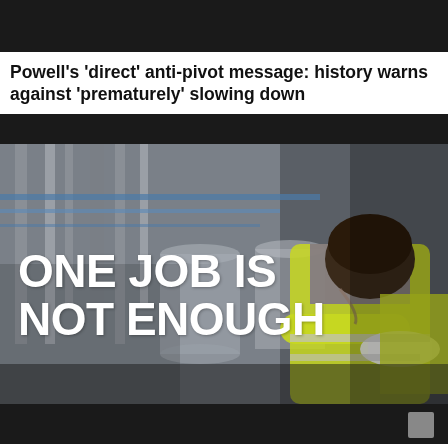Powell's 'direct' anti-pivot message: history warns against 'prematurely' slowing down
[Figure (photo): A worker in a yellow high-visibility jacket leans forward with head down on his arm holding a white hard hat, in an industrial setting. Overlaid text reads 'ONE JOB IS NOT ENOUGH' in large white bold uppercase letters.]